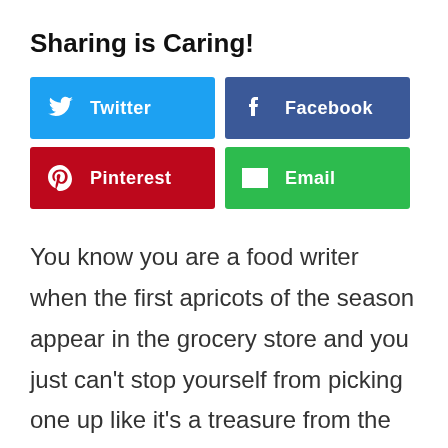Sharing is Caring!
[Figure (infographic): Four social sharing buttons arranged in a 2x2 grid: Twitter (blue), Facebook (dark blue), Pinterest (red), Email (green)]
You know you are a food writer when the first apricots of the season appear in the grocery store and you just can't stop yourself from picking one up like it's a treasure from the heavens,